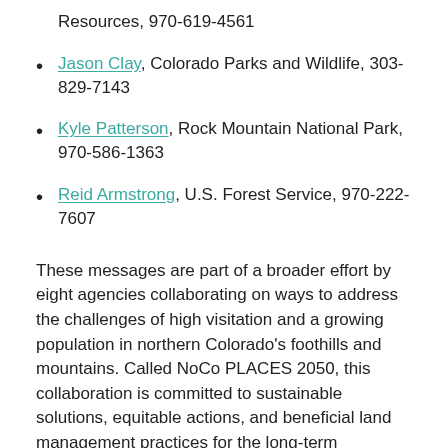Resources, 970-619-4561
Jason Clay, Colorado Parks and Wildlife, 303-829-7143
Kyle Patterson, Rock Mountain National Park, 970-586-1363
Reid Armstrong, U.S. Forest Service, 970-222-7607
These messages are part of a broader effort by eight agencies collaborating on ways to address the challenges of high visitation and a growing population in northern Colorado's foothills and mountains. Called NoCo PLACES 2050, this collaboration is committed to sustainable solutions, equitable actions, and beneficial land management practices for the long-term conservation of public